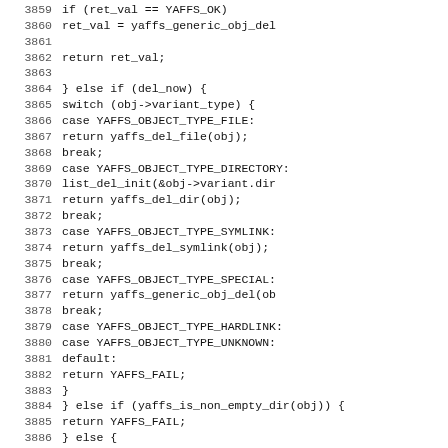[Figure (screenshot): Source code listing in monospace font showing C code lines 3860-3891, featuring a switch statement with YAFFS object type cases including FILE, DIRECTORY, SYMLINK, SPECIAL, HARDLINK, UNKNOWN, and default cases, plus else-if conditions for del_now and yaffs_is_non_empty_dir.]